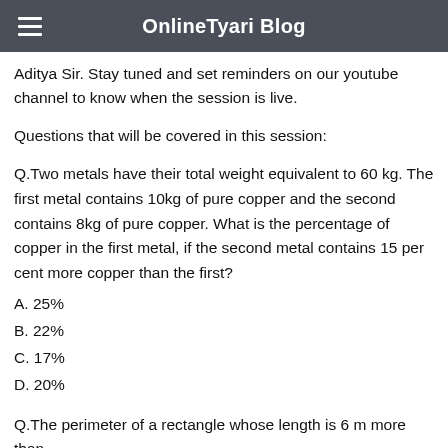OnlineTyari Blog
Aditya Sir. Stay tuned and set reminders on our youtube channel to know when the session is live.
Questions that will be covered in this session:
Q.Two metals have their total weight equivalent to 60 kg. The first metal contains 10kg of pure copper and the second contains 8kg of pure copper. What is the percentage of copper in the first metal, if the second metal contains 15 per cent more copper than the first?
A. 25%
B. 22%
C. 17%
D. 20%
Q.The perimeter of a rectangle whose length is 6 m more than